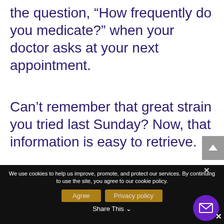the question, “How frequently do you medicate?” when your doctor asks at your next appointment.
Can’t remember that great strain you tried last Sunday? Now, that information is easy to retrieve.
We use cookies to help us improve, promote, and protect our services. By continuing to use the site, you agree to our cookie policy. | Agree | Privacy policy | Share This